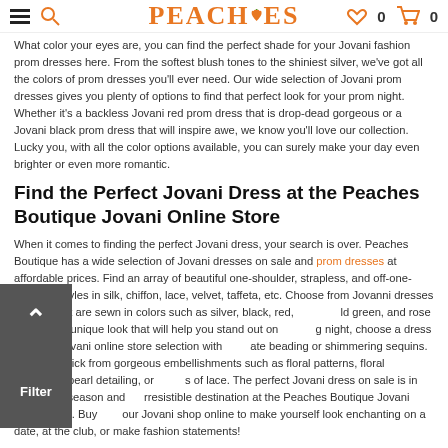PEACHES
What color your eyes are, you can find the perfect shade for your Jovani fashion prom dresses here. From the softest blush tones to the shiniest silver, we've got all the colors of prom dresses you'll ever need. Our wide selection of Jovani prom dresses gives you plenty of options to find that perfect look for your prom night. Whether it's a backless Jovani red prom dress that is drop-dead gorgeous or a Jovani black prom dress that will inspire awe, we know you'll love our collection. Lucky you, with all the color options available, you can surely make your day even brighter or even more romantic.
Find the Perfect Jovani Dress at the Peaches Boutique Jovani Online Store
When it comes to finding the perfect Jovani dress, your search is over. Peaches Boutique has a wide selection of Jovani dresses on sale and prom dresses at affordable prices. Find an array of beautiful one-shoulder, strapless, and off-one-shoulder styles in silk, chiffon, lace, velvet, taffeta, etc. Choose from Jovanni dresses for sale that are sewn in colors such as silver, black, red, ld green, and rose gold. For a unique look that will help you stand out on g night, choose a dress from our Jovani online store selection with ate beading or shimmering sequins. Take your pick from gorgeous embellishments such as floral patterns, floral appliques, pearl detailing, or s of lace. The perfect Jovani dress on sale is in style each season and rresistible destination at the Peaches Boutique Jovani online store. Buy our Jovani shop online to make yourself look enchanting on a date, at the club, or make fashion statements!